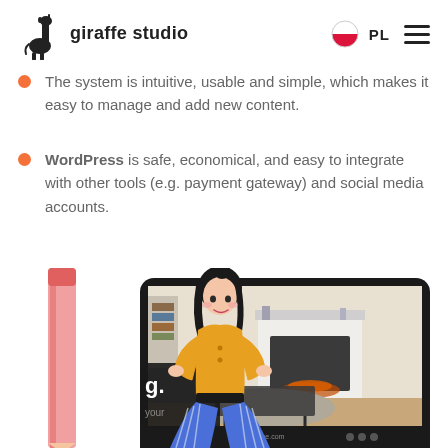giraffe studio | PL
The system is intuitive, usable and simple, which makes it easy to manage and add new content.
WordPress is safe, economical, and easy to integrate with other tools (e.g. payment gateway) and social media accounts.
[Figure (illustration): Illustration of a woman in a yellow top and blue wide-leg pants standing beside a large tablet/screen showing a living room interior with fireplace, along with a large pencil and partial text 'g.' and 'your'. Website URL 'www.home.com' visible at bottom of tablet.]